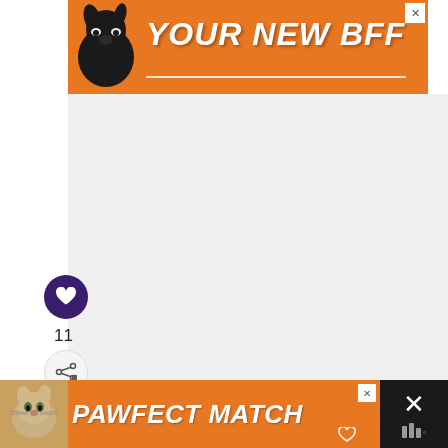[Figure (photo): Orange advertisement banner with black dog silhouette and white bold text saying YOUR NEW BFF with underline, and close X button]
[Figure (photo): Large white/blank photo area in the center of the page]
[Figure (infographic): Dark purple circular heart/like button, like count of 11, and share button on left side]
11
WHAT'S NEXT → 8 Ways to Spend the...
Great Yorkshire Vegan Festival, Leeds,
[Figure (photo): Orange advertisement banner at bottom with cat photo and PAWFECT MATCH text]